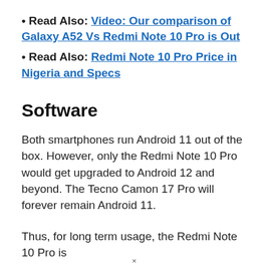Read Also: Video: Our comparison of Galaxy A52 Vs Redmi Note 10 Pro is Out
Read Also: Redmi Note 10 Pro Price in Nigeria and Specs
Software
Both smartphones run Android 11 out of the box. However, only the Redmi Note 10 Pro would get upgraded to Android 12 and beyond. The Tecno Camon 17 Pro will forever remain Android 11.
Thus, for long term usage, the Redmi Note 10 Pro is
×